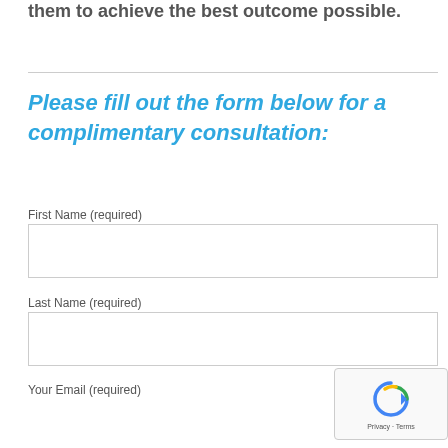them to achieve the best outcome possible.
Please fill out the form below for a complimentary consultation:
First Name (required)
Last Name (required)
Your Email (required)